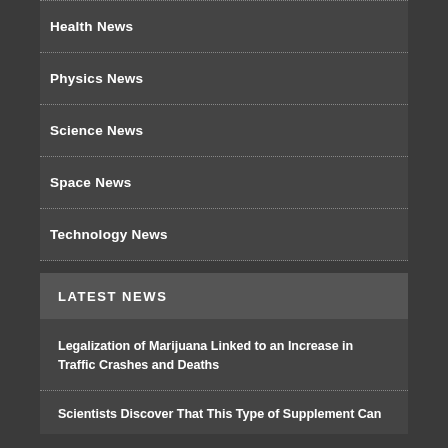Health News
Physics News
Science News
Space News
Technology News
LATEST NEWS
Legalization of Marijuana Linked to an Increase in Traffic Crashes and Deaths
Scientists Discover That This Type of Supplement Can